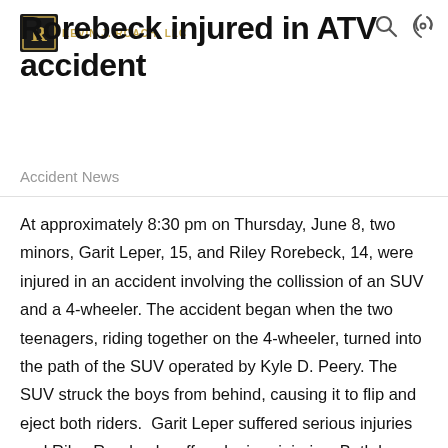Rorebeck injured in ATV accident
Accident News
At approximately 8:30 pm on Thursday, June 8, two minors, Garit Leper, 15, and Riley Rorebeck, 14, were injured in an accident involving the collission of an SUV and a 4-wheeler. The accident began when the two teenagers, riding together on the 4-wheeler, turned into the path of the SUV operated by Kyle D. Peery. The SUV struck the boys from behind, causing it to flip and eject both riders.  Garit Leper suffered serious injuries and Riley Rorebeck suffered minor injuries. Both boys were transported to Wright Memorial Hospital for